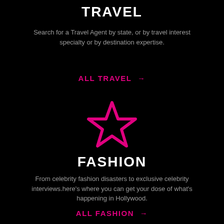TRAVEL
Search for a Travel Agent by state, or by travel interest specialty or by destination expertise.
ALL TRAVEL →
[Figure (illustration): Pink outlined star icon on black background]
FASHION
From celebrity fashion disasters to exclusive celebrity interviews.here's where you can get your dose of what's happening in Hollywood.
ALL FASHION →